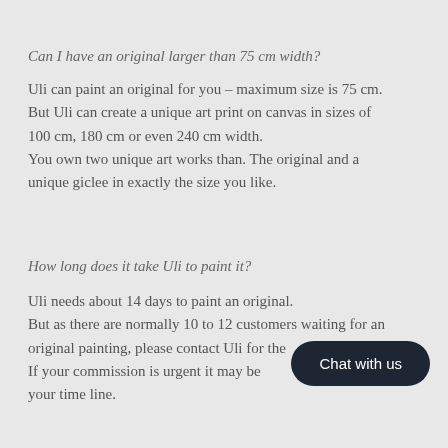Can I have an original larger than 75 cm width?
Uli can paint an original for you – maximum size is 75 cm. But Uli can create a unique art print on canvas in sizes of 100 cm, 180 cm or even 240 cm width.
You own two unique art works than. The original and a unique giclee in exactly the size you like.
How long does it take Uli to paint it?
Uli needs about 14 days to paint an original.
But as there are normally 10 to 12 customers waiting for an original painting, please contact Uli for the planning.
If your commission is urgent it may be possible to adjust your time line.